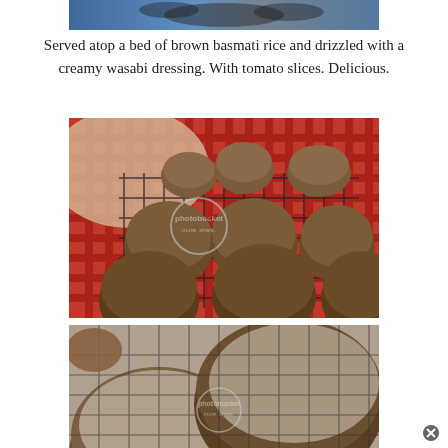[Figure (photo): Top portion of a photo showing what appears to be a blue patterned dish or food item, partially cropped]
Served atop a bed of brown basmati rice and drizzled with a creamy wasabi dressing. With tomato slices. Delicious.
[Figure (photo): Muffins cooling on a wire rack placed on a red checkered cloth. Multiple brown muffins visible with a Photobucket watermark overlay.]
[Figure (photo): Close-up of muffins dusted with powdered sugar on a wire rack, with a Photobucket watermark overlay.]